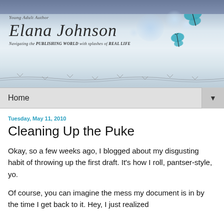[Figure (illustration): Blog header banner for Elana Johnson, Young Adult Author. Light blue/grey gradient background with bokeh circles, decorative cursive author name, subtitle text, tagline, barbed wire graphic at bottom, and two blue butterflies in the upper right.]
Home ▼
Tuesday, May 11, 2010
Cleaning Up the Puke
Okay, so a few weeks ago, I blogged about my disgusting habit of throwing up the first draft. It's how I roll, pantser-style, yo.
Of course, you can imagine the mess my document is in by the time I get back to it. Hey, I just realized